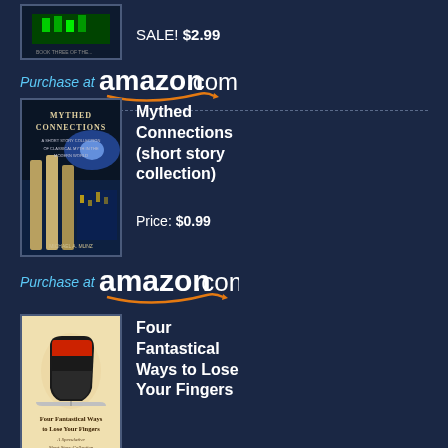SALE! $2.99
[Figure (other): Amazon.com purchase link with Purchase at text in blue and amazon.com logo]
Mythed Connections (short story collection)
[Figure (illustration): Book cover for Mythed Connections showing Greek columns with night sky and city]
Price: $0.99
[Figure (other): Amazon.com purchase link]
Four Fantastical Ways to Lose Your Fingers
[Figure (illustration): Book cover for Four Fantastical Ways to Lose Your Fingers showing an ice skate on aged paper background]